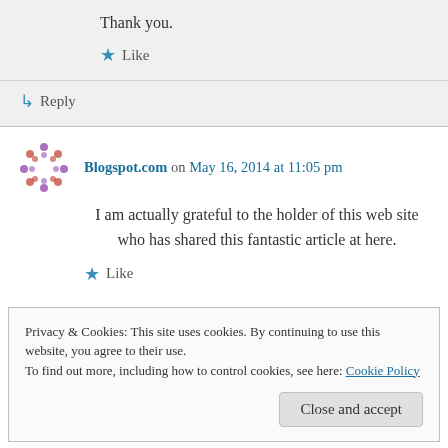Thank you.
★ Like
↳ Reply
Blogspot.com on May 16, 2014 at 11:05 pm
I am actually grateful to the holder of this web site who has shared this fantastic article at here.
★ Like
Privacy & Cookies: This site uses cookies. By continuing to use this website, you agree to their use.
To find out more, including how to control cookies, see here: Cookie Policy
Close and accept